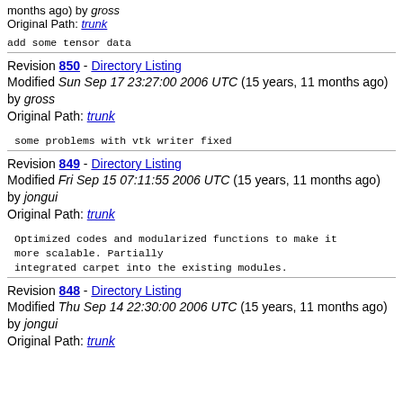months ago) by gross
Original Path: trunk
add some tensor data
Revision 850 - Directory Listing
Modified Sun Sep 17 23:27:00 2006 UTC (15 years, 11 months ago) by gross
Original Path: trunk
some problems with vtk writer fixed
Revision 849 - Directory Listing
Modified Fri Sep 15 07:11:55 2006 UTC (15 years, 11 months ago) by jongui
Original Path: trunk
Optimized codes and modularized functions to make it more scalable. Partially
integrated carpet into the existing modules.
Revision 848 - Directory Listing
Modified Thu Sep 14 22:30:00 2006 UTC (15 years, 11 months ago) by jongui
Original Path: trunk